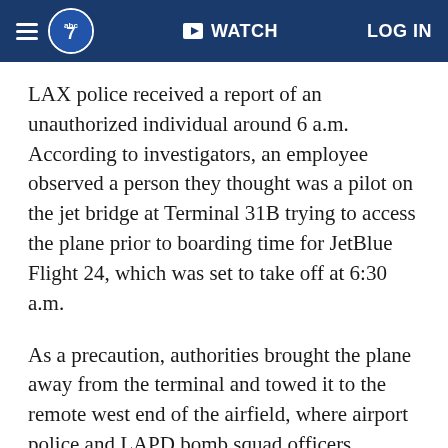abc7 WATCH LOG IN
LAX police received a report of an unauthorized individual around 6 a.m. According to investigators, an employee observed a person they thought was a pilot on the jet bridge at Terminal 31B trying to access the plane prior to boarding time for JetBlue Flight 24, which was set to take off at 6:30 a.m.
As a precaution, authorities brought the plane away from the terminal and towed it to the remote west end of the airfield, where airport police and LAPD bomb squad officers conducted a search of the aircraft and baggage.
Pedregon said officers have not made contact with the